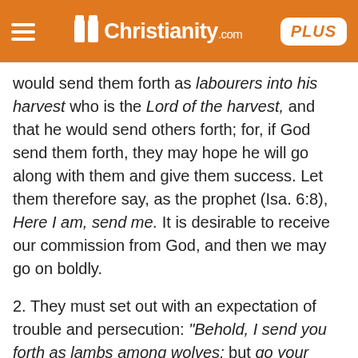iChristianity.com PLUS
would send them forth as labourers into his harvest who is the Lord of the harvest, and that he would send others forth; for, if God send them forth, they may hope he will go along with them and give them success. Let them therefore say, as the prophet (Isa. 6:8), Here I am, send me. It is desirable to receive our commission from God, and then we may go on boldly.
2. They must set out with an expectation of trouble and persecution: "Behold, I send you forth as lambs among wolves; but go your ways, and resolve to make the best of it. Your enemies will be as wolves, bloody and cruel, and ready to pull you to pieces; in their threatenings and revilings, they will be as